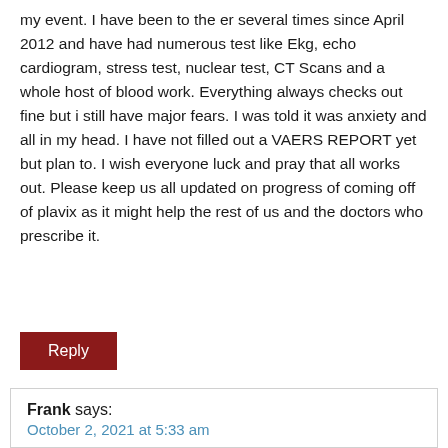my event. I have been to the er several times since April 2012 and have had numerous test like Ekg, echo cardiogram, stress test, nuclear test, CT Scans and a whole host of blood work. Everything always checks out fine but i still have major fears. I was told it was anxiety and all in my head. I have not filled out a VAERS REPORT yet but plan to. I wish everyone luck and pray that all works out. Please keep us all updated on progress of coming off of plavix as it might help the rest of us and the doctors who prescribe it.
Reply
Frank says:
October 2, 2021 at 5:33 am
Having night mares and unpleasant pain from